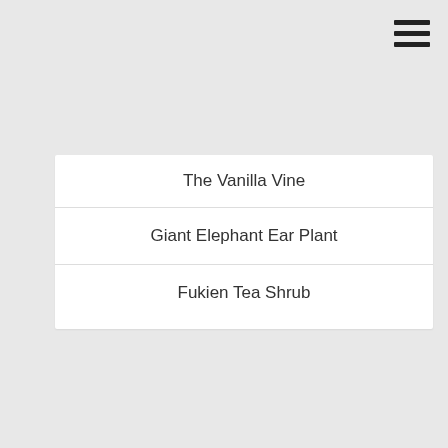[Figure (other): Hamburger menu icon (three horizontal lines) in top right corner]
The Vanilla Vine
Giant Elephant Ear Plant
Fukien Tea Shrub
ARCHIVES
Select Month
CATEGORIES
Select Category